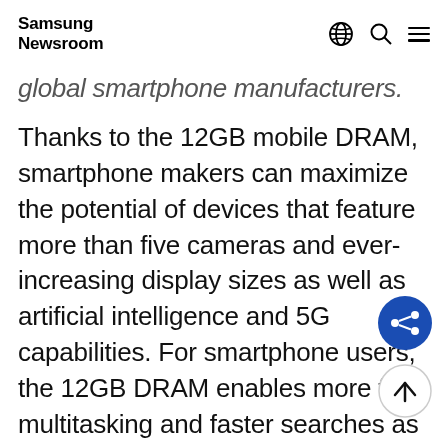Samsung Newsroom
global smartphone manufacturers.
Thanks to the 12GB mobile DRAM, smartphone makers can maximize the potential of devices that feature more than five cameras and ever-increasing display sizes as well as artificial intelligence and 5G capabilities. For smartphone users, the 12GB DRAM enables more fluid multitasking and faster searches as they navigate through a myriad of apps on ultra-large high-resolution screens. Also, the 1.1-millimeter thickness allows for even sleek smartphone designs.